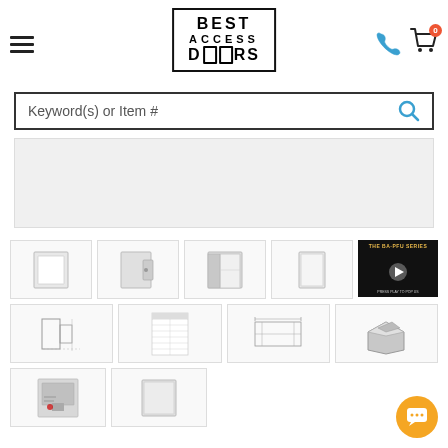[Figure (logo): Best Access Doors logo with border box]
[Figure (screenshot): Search bar with placeholder text Keyword(s) or Item #]
[Figure (screenshot): White content/banner area below search bar]
[Figure (photo): Grid of 11 product thumbnails: access door panels, technical drawings, and one video thumbnail (THE BA-PFU SERIES)]